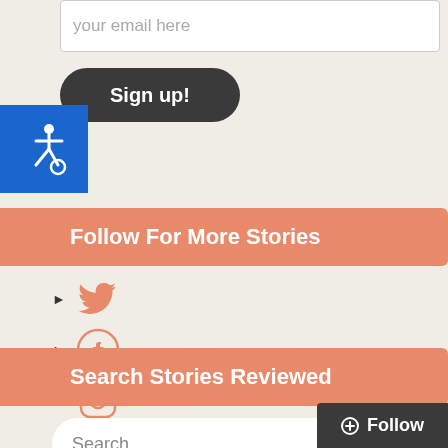your email here
Sign up!
[Figure (illustration): Accessibility icon - wheelchair symbol in white on blue background]
Follow For More Stories
Twitter (bird icon)
Facebook (circle f icon)
Instagram (camera icon)
Search Stories Reviewed
Search
OK
Follow